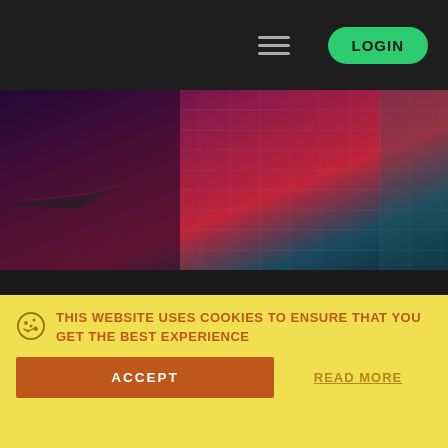LOGIN
[Figure (illustration): Dark gaming-themed hero banner with purple, red, teal gradient background and faint grid/digital effects]
THAILAND.CS CS:GO PROFILE
[Figure (screenshot): Profile card showing THAILAND.C username, Thailand.CS site label, location pin icon with Thailand, person icon with 0]
THIS WEBSITE USES COOKIES TO ENSURE THAT YOU GET THE BEST EXPERIENCE
ACCEPT
READ MORE